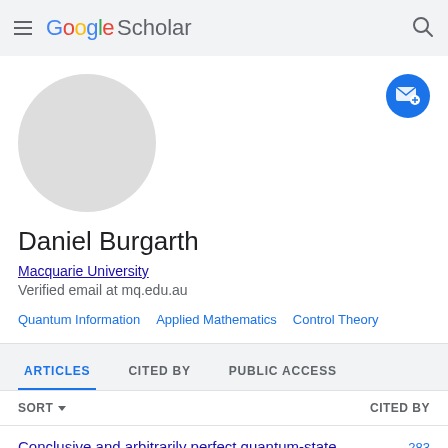Google Scholar
[Figure (photo): Default grey avatar circle placeholder image]
Daniel Burgarth
Macquarie University
Verified email at mq.edu.au
Quantum Information
Applied Mathematics
Control Theory
ARTICLES    CITED BY    PUBLIC ACCESS
SORT ▾    CITED BY
Conclusive and arbitrarily perfect quantum-state    283